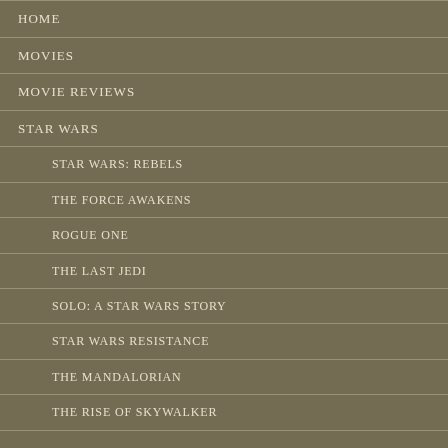HOME
MOVIES
MOVIE REVIEWS
STAR WARS
STAR WARS: REBELS
THE FORCE AWAKENS
ROGUE ONE
THE LAST JEDI
SOLO: A STAR WARS STORY
STAR WARS RESISTANCE
THE MANDALORIAN
THE RISE OF SKYWALKER